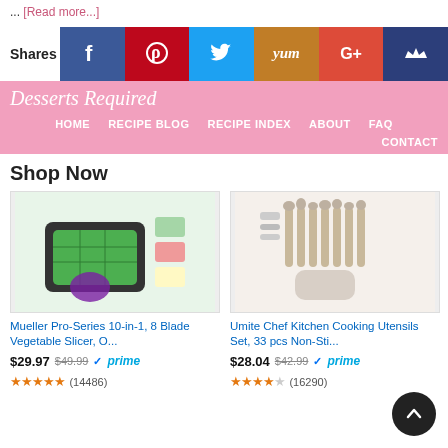... [Read more...]
[Figure (infographic): Social share buttons bar: Facebook (blue), Pinterest (red), Twitter (light blue), Yum (orange), Google+ (red-orange), Crown (dark blue), with Shares label on left]
[Figure (screenshot): Desserts Required website header with pink background, site title in italic script, navigation: HOME, RECIPE BLOG, RECIPE INDEX, ABOUT, FAQ, CONTACT]
Shop Now
[Figure (photo): Mueller Pro-Series 10-in-1 8 Blade Vegetable Slicer product image]
Mueller Pro-Series 10-in-1, 8 Blade Vegetable Slicer, O...
$29.97 $49.99 ✓prime
★★★★★ (14486)
[Figure (photo): Umite Chef Kitchen Cooking Utensils Set 33 pcs Non-Stick product image]
Umite Chef Kitchen Cooking Utensils Set, 33 pcs Non-Sti...
$28.04 $42.99 ✓prime
★★★★☆ (16290)